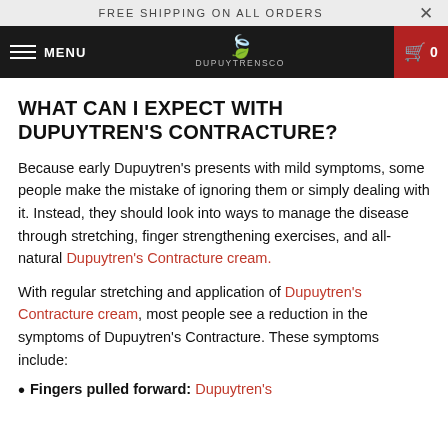FREE SHIPPING ON ALL ORDERS
MENU  DUPUYTRENSCO  0
WHAT CAN I EXPECT WITH DUPUYTREN'S CONTRACTURE?
Because early Dupuytren's presents with mild symptoms, some people make the mistake of ignoring them or simply dealing with it. Instead, they should look into ways to manage the disease through stretching, finger strengthening exercises, and all-natural Dupuytren's Contracture cream.
With regular stretching and application of Dupuytren's Contracture cream, most people see a reduction in the symptoms of Dupuytren's Contracture. These symptoms include:
Fingers pulled forward: Dupuytren's